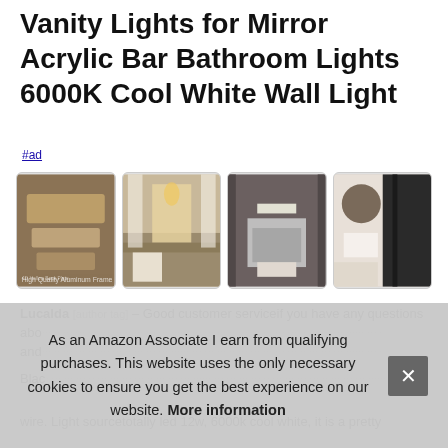Vanity Lights for Mirror Acrylic Bar Bathroom Lights 6000K Cool White Wall Light
#ad
[Figure (photo): Four product/lifestyle photos of bathroom vanity lights shown in a horizontal row]
Lucalda [author tag] – Good customer serviceif you have any questions abo... and...
Blac... wire. Light sourcetotally led 12w, 6000k cool white, it is a pretty
As an Amazon Associate I earn from qualifying purchases. This website uses the only necessary cookies to ensure you get the best experience on our website. More information